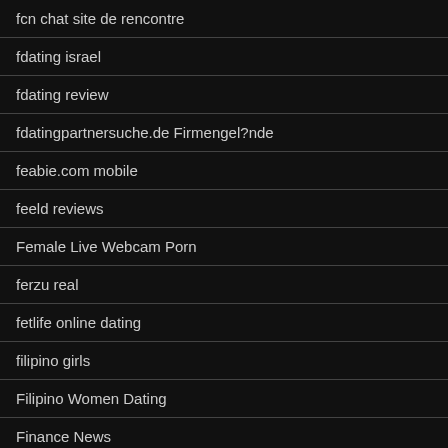fcn chat site de rencontre
fdating israel
fdating review
fdatingpartnersuche.de Firmengel?nde
feabie.com mobile
feeld reviews
Female Live Webcam Porn
ferzu real
fetlife online dating
filipino girls
Filipino Women Dating
Finance News
Find A Bride